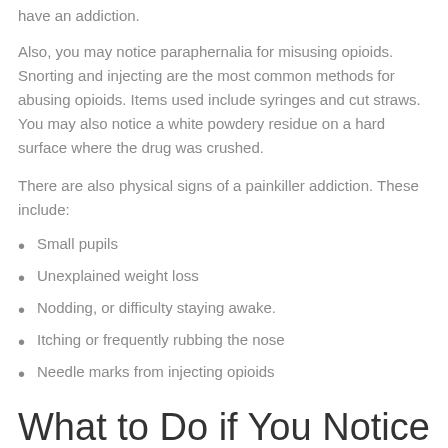have an addiction.
Also, you may notice paraphernalia for misusing opioids. Snorting and injecting are the most common methods for abusing opioids. Items used include syringes and cut straws. You may also notice a white powdery residue on a hard surface where the drug was crushed.
There are also physical signs of a painkiller addiction. These include:
Small pupils
Unexplained weight loss
Nodding, or difficulty staying awake.
Itching or frequently rubbing the nose
Needle marks from injecting opioids
What to Do if You Notice Signs of Addiction